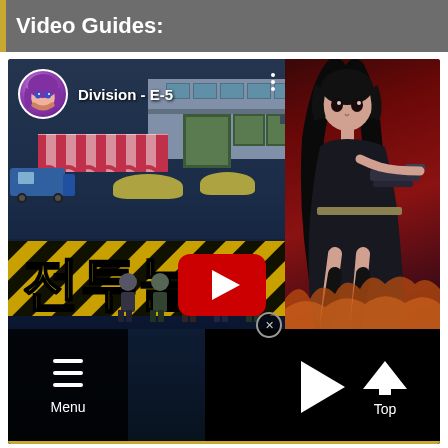Video Guides:
[Figure (screenshot): YouTube video thumbnail/player for 'Division - E-5' game guide. Shows an anime-style game scene with a city backdrop, characters at bottom, a yellow Korean text banner reading '전투놀이', a large red YouTube play button overlay, an anime girl character on the right side, and navigation controls at bottom including Menu and Top buttons.]